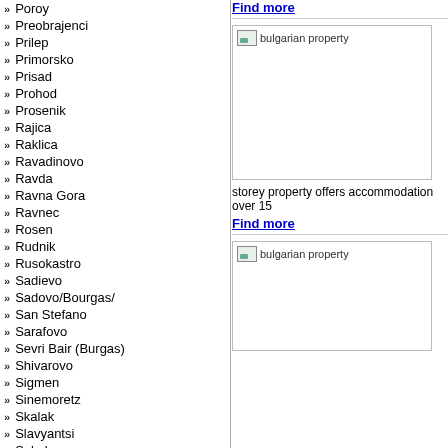Poroy
Preobrajenci
Prilep
Primorsko
Prisad
Prohod
Prosenik
Rajica
Raklica
Ravadinovo
Ravda
Ravna Gora
Ravnec
Rosen
Rudnik
Rusokastro
Sadievo
Sadovo/Bourgas/
San Stefano
Sarafovo
Sevri Bair (Burgas)
Shivarovo
Sigmen
Sinemoretz
Skalak
Slavyantsi
Sokolovo
Sozopol
Sredets/Bourgas
Find more
[Figure (photo): Bulgarian property image placeholder]
storey property offers accommodation over 15
Find more
[Figure (photo): Bulgarian property image placeholder 2]